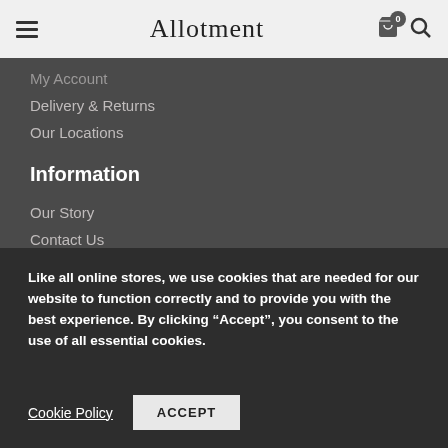Allotment
My Account
Delivery & Returns
Our Locations
Information
Our Story
Contact Us
Terms & Conditions
Privacy Policy
Like all online stores, we use cookies that are needed for our website to function correctly and to provide you with the best experience. By clicking “Accept”, you consent to the use of all essential cookies.
Cookie Policy
ACCEPT